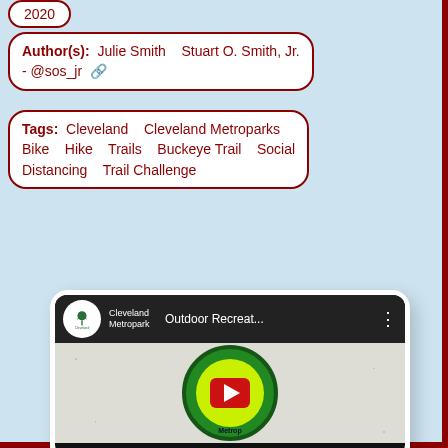2020
Author(s): Julie Smith   Stuart O. Smith, Jr. - @sos_jr
Tags: Cleveland   Cleveland Metroparks   Bike   Hike   Trails   Buckeye Trail   Social Distancing   Trail Challenge
[Figure (screenshot): YouTube video thumbnail showing Cleveland Metroparks video titled 'Outdoor Recreat...' with a large play button on a tablet device. The video shows a circular Cleveland Metroparks object with a green ring and YouTube-style red play button.]